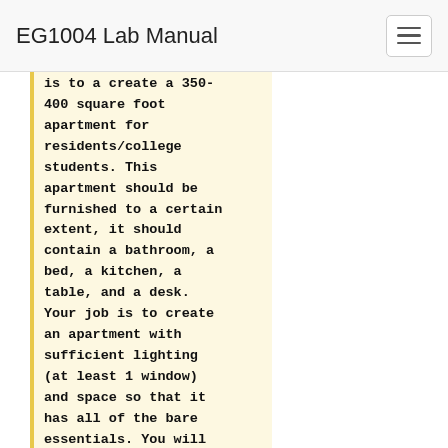EG1004 Lab Manual
is to a create a 350-400 square foot apartment for residents/college students. This apartment should be furnished to a certain extent, it should contain a bathroom, a bed, a kitchen, a table, and a desk. Your job is to create an apartment with sufficient lighting (at least 1 window) and space so that it has all of the bare essentials. You will be tasked with